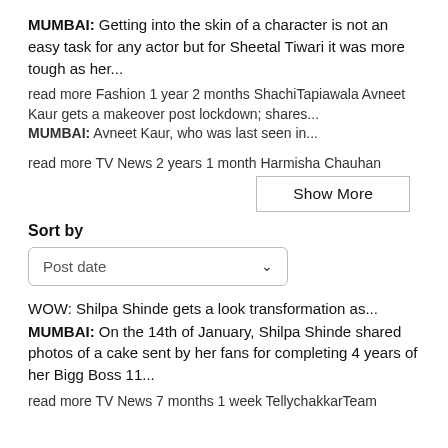MUMBAI: Getting into the skin of a character is not an easy task for any actor but for Sheetal Tiwari it was more tough as her...
read more Fashion 1 year 2 months ShachiTapiawala Avneet Kaur gets a makeover post lockdown; shares... MUMBAI: Avneet Kaur, who was last seen in...
read more TV News 2 years 1 month Harmisha Chauhan
Show More
Sort by
Post date
WOW: Shilpa Shinde gets a look transformation as... MUMBAI: On the 14th of January, Shilpa Shinde shared photos of a cake sent by her fans for completing 4 years of her Bigg Boss 11...
read more TV News 7 months 1 week TellychakkarTeam